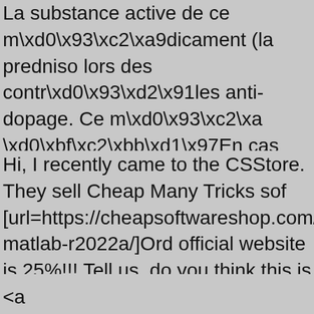La substance active de ce m\xd0\x93\xc2\xa9dicament (la prednis lors des contr\xd0\x93\xd2\x91les anti-dopage. Ce m\xd0\x93\xc2\xa \xd0\xbf\xc2\xbb\xd1\x97En cas d'ulc\xd0\x93\xd0\x81re gastro-duo pas contre-indiqu\xd0\x93\xc2\xa9e si un traitement anti-ulc\xd0\x93 https://acheterdusolupred.space/generique-solupred-20-mg/ Pharma
Hi, I recently came to the CSStore. They sell Cheap Many Tricks sof [url=https://cheapsoftwareshop.com/mathworks-matlab-r2022a/]Ord official website is 25%!!! Tell us, do you think this is a good buy? [url OEM Premiere Pro CC[/url]
<a href=https://www.binance.com/en/activity/referral-entry/CPA?from income from cryptocurrencies?</a><a href=https://www.binance.cor fromActivityPage=true&ref=CPA_007YZN88KF>Many people are in
why marijuanas should be legal essay <a href="https://essaymerger
ways to start an essay <a href="https://essaymerger.com/ ">types of
<a href="https://www.dtcgzb.com/night-dress-for-women-near-me-sa href="https://www.ledephoto.com/orange-boston-red-sox-hat-60-har href="https://www.cedizmir.com/cristiano-ronaldo-jersey-2018-for-ch href="https://www.npbusher.com/nike-pittsburgh-steelers-95-jarvis-jo pittsburgh steelers 95 jarvis jones 2015 noble fashion elite jersey</a polor">black cropped polo shirt</a> themrsc http://www.themrsc.cor
Hello Members, I wonder how to reach the consciousness of the R